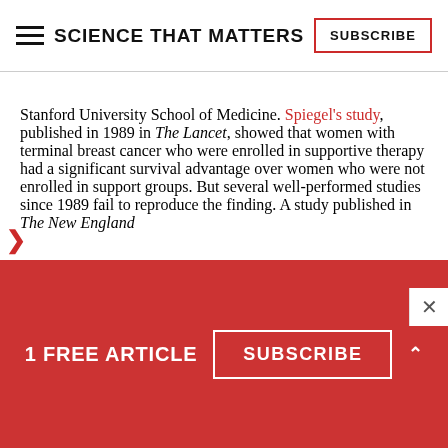SCIENCE THAT MATTERS | SUBSCRIBE
Stanford University School of Medicine. Spiegel's study, published in 1989 in The Lancet, showed that women with terminal breast cancer who were enrolled in supportive therapy had a significant survival advantage over women who were not enrolled in support groups. But several well-performed studies since 1989 fail to reproduce the finding. A study published in The New England
1 FREE ARTICLE  SUBSCRIBE